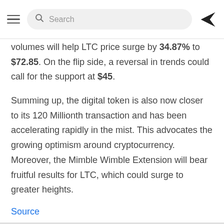Search
volumes will help LTC price surge by 34.87% to $72.85. On the flip side, a reversal in trends could call for the support at $45.
Summing up, the digital token is also now closer to its 120 Millionth transaction and has been accelerating rapidly in the mist. This advocates the growing optimism around cryptocurrency. Moreover, the Mimble Wimble Extension will bear fruitful results for LTC, which could surge to greater heights.
Source
[Figure (other): Social media sharing icons: Facebook, LinkedIn, Reddit, Telegram, Twitter]